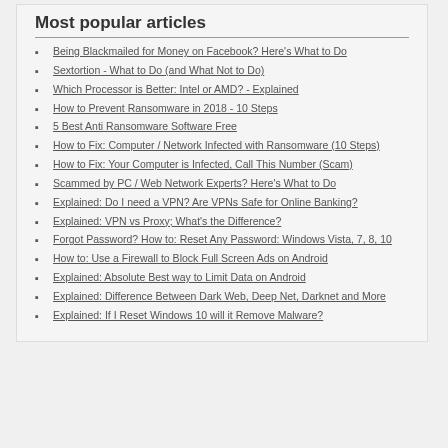Most popular articles
Being Blackmailed for Money on Facebook? Here's What to Do
Sextortion - What to Do (and What Not to Do)
Which Processor is Better: Intel or AMD? - Explained
How to Prevent Ransomware in 2018 - 10 Steps
5 Best Anti Ransomware Software Free
How to Fix: Computer / Network Infected with Ransomware (10 Steps)
How to Fix: Your Computer is Infected, Call This Number (Scam)
Scammed by PC / Web Network Experts? Here's What to Do
Explained: Do I need a VPN? Are VPNs Safe for Online Banking?
Explained: VPN vs Proxy; What's the Difference?
Forgot Password? How to: Reset Any Password: Windows Vista, 7, 8, 10
How to: Use a Firewall to Block Full Screen Ads on Android
Explained: Absolute Best way to Limit Data on Android
Explained: Difference Between Dark Web, Deep Net, Darknet and More
Explained: If I Reset Windows 10 will it Remove Malware?